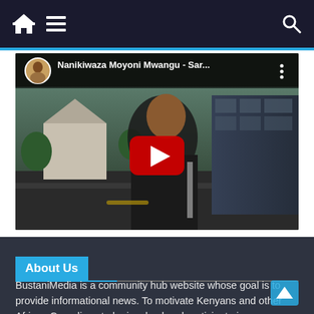Navigation bar with home, menu, and search icons
[Figure (screenshot): YouTube video embed showing 'Nanikiwaza Moyoni Mwangu - Sar...' with a play button overlay. Video shows a person outdoors with buildings in background.]
About Us
BustaniMedia is a community hub website whose goal is to provide informational news. To motivate Kenyans and other African Canadians to be involved and participate in